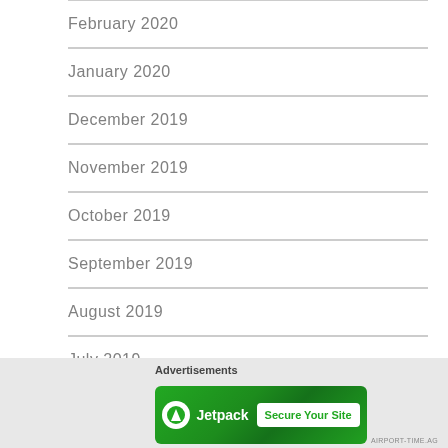February 2020
January 2020
December 2019
November 2019
October 2019
September 2019
August 2019
July 2019
June 2019
May 2019
Advertisements
[Figure (other): Jetpack advertisement banner with green background, Jetpack logo and icon on left, and 'Secure Your Site' button on right]